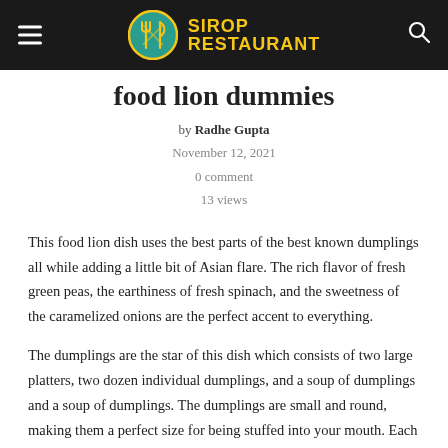SIROP RESTAURANT
food lion dummies
by Radhe Gupta
November 12, 2021
0 comment
13 views
This food lion dish uses the best parts of the best known dumplings all while adding a little bit of Asian flare. The rich flavor of fresh green peas, the earthiness of fresh spinach, and the sweetness of the caramelized onions are the perfect accent to everything.
The dumplings are the star of this dish which consists of two large platters, two dozen individual dumplings, and a soup of dumplings and a soup of dumplings. The dumplings are small and round, making them a perfect size for being stuffed into your mouth. Each one is stuffed with a filling of caramelized onions, green peas, and